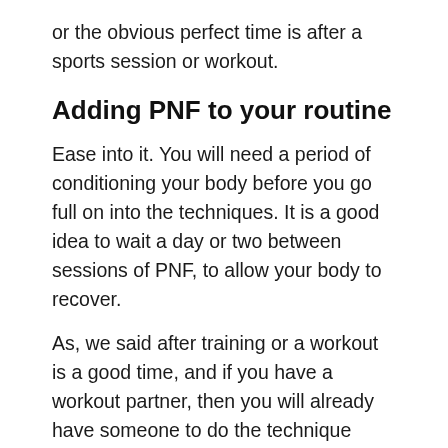or the obvious perfect time is after a sports session or workout.
Adding PNF to your routine
Ease into it. You will need a period of conditioning your body before you go full on into the techniques. It is a good idea to wait a day or two between sessions of PNF, to allow your body to recover.
As, we said after training or a workout is a good time, and if you have a workout partner, then you will already have someone to do the technique with. One full repetition for each muscle group, added to your routine twice a week will increase your ROM.